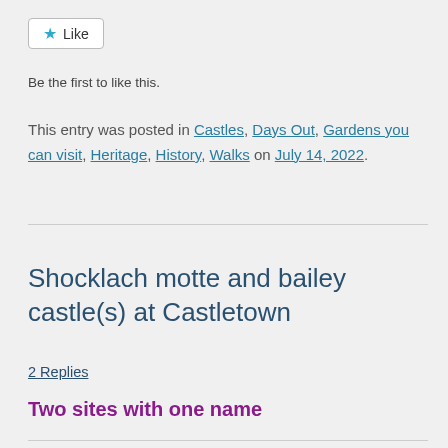[Figure (other): Like button with star icon]
Be the first to like this.
This entry was posted in Castles, Days Out, Gardens you can visit, Heritage, History, Walks on July 14, 2022.
Shocklach motte and bailey castle(s) at Castletown
2 Replies
Two sites with one name